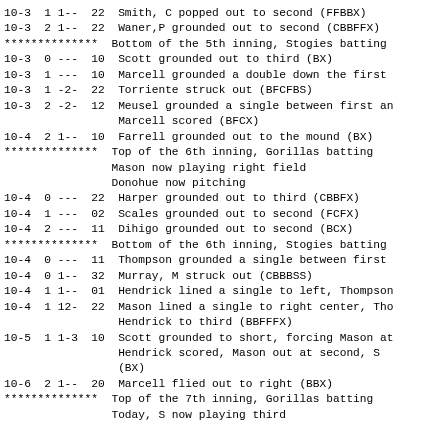10-3  1 1--  22  Smith, C popped out to second (FFBBX)
10-3  2 1--  22  Waner,P grounded out to second (CBBFFX)
**************  Bottom of the 5th inning, Stogies batting
10-3  0 ---  10  Scott grounded out to third (BX)
10-3  1 ---  10  Marcell grounded a double down the first
10-3  1 -2-  22  Torriente struck out (BFCFBS)
10-3  2 -2-  12  Meusel grounded a single between first and
     Marcell scored (BFCX)
10-4  2 1--  10  Farrell grounded out to the mound (BX)
**************  Top of the 6th inning, Gorillas batting
     Mason now playing right field
     Donohue now pitching
10-4  0 ---  22  Harper grounded out to third (CBBFX)
10-4  1 ---  02  Scales grounded out to second (FCFX)
10-4  2 ---  11  Dihigo grounded out to second (BCX)
**************  Bottom of the 6th inning, Stogies batting
10-4  0 ---  11  Thompson grounded a single between first
10-4  0 1--  32  Murray, M struck out (CBBBSS)
10-4  1 1--  01  Hendrick lined a single to left, Thompson
10-4  1 12-  22  Mason lined a single to right center, Tho
     Hendrick to third (BBFFFX)
10-5  1 1-3  10  Scott grounded to short, forcing Mason at
     Hendrick scored, Mason out at second, S
     (BX)
10-6  2 1--  20  Marcell flied out to right (BBX)
**************  Top of the 7th inning, Gorillas batting
     Today, S now playing third